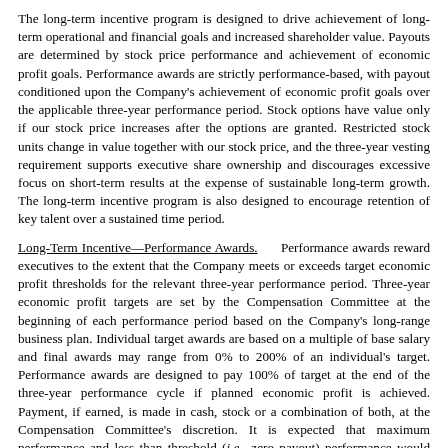The long-term incentive program is designed to drive achievement of long-term operational and financial goals and increased shareholder value. Payouts are determined by stock price performance and achievement of economic profit goals. Performance awards are strictly performance-based, with payout conditioned upon the Company's achievement of economic profit goals over the applicable three-year performance period. Stock options have value only if our stock price increases after the options are granted. Restricted stock units change in value together with our stock price, and the three-year vesting requirement supports executive share ownership and discourages excessive focus on short-term results at the expense of sustainable long-term growth. The long-term incentive program is also designed to encourage retention of key talent over a sustained time period.
Long-Term Incentive—Performance Awards. Performance awards reward executives to the extent that the Company meets or exceeds target economic profit thresholds for the relevant three-year performance period. Three-year economic profit targets are set by the Compensation Committee at the beginning of each performance period based on the Company's long-range business plan. Individual target awards are based on a multiple of base salary and final awards may range from 0% to 200% of an individual's target. Performance awards are designed to pay 100% of target at the end of the three-year performance cycle if planned economic profit is achieved. Payment, if earned, is made in cash, stock or a combination of both, at the Compensation Committee's discretion. It is expected that maximum performance and less than threshold (i.e., zero payout) performance would each be infrequent.
Long-Term Incentive—Stock Options. Stock options align executives' interests with those of shareholders since our stock options have realizable